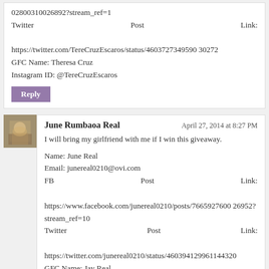02800310026892?stream_ref=1
Twitter Post Link: https://twitter.com/TereCruzEscaros/status/46037273495903 0272
GFC Name: Theresa Cruz
Instagram ID: @TereCruzEscaros
Reply
June Rumbaoa Real
April 27, 2014 at 8:27 PM
I will bring my girlfriend with me if I win this giveaway.
Name: June Real
Email: junereal0210@ovi.com
FB Post Link: https://www.facebook.com/junereal0210/posts/766592760026952?stream_ref=10
Twitter Post Link: https://twitter.com/junereal0210/status/46039412996114432 0
GFC Name: Jay Real
Instagram ID: @junereal0210
Reply